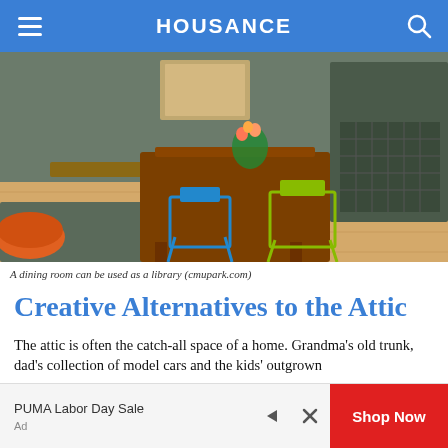HOUSANCE
[Figure (photo): Dining room with wooden table, colorful chairs (blue and green), wood flooring, shelving unit with wine rack in background, orange pouf on left]
A dining room can be used as a library (cmupark.com)
Creative Alternatives to the Attic
The attic is often the catch-all space of a home. Grandma's old trunk, dad's collection of model cars and the kids' outgrown
PUMA Labor Day Sale
Ad